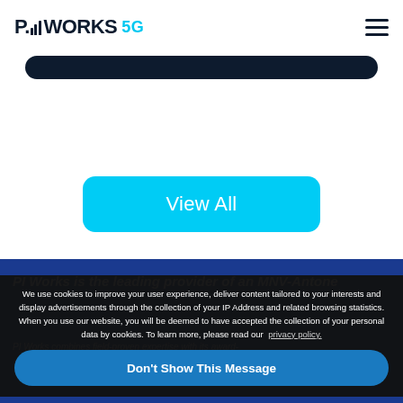PI WORKS 5G
[Figure (screenshot): Dark navy rounded pill/bar element at top of page content area]
View All
[Figure (screenshot): Blue background section with partially visible white text about PI Works being leading provider]
We use cookies to improve your user experience, deliver content tailored to your interests and display advertisements through the collection of your IP Address and related browsing statistics. When you use our website, you will be deemed to have accepted the collection of your personal data by cookies. To learn more, please read our privacy policy.
Don't Show This Message